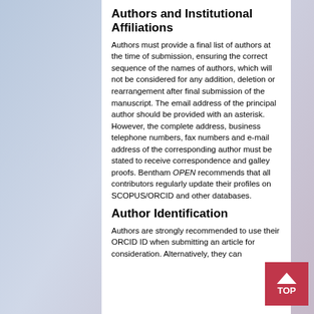Authors and Institutional Affiliations
Authors must provide a final list of authors at the time of submission, ensuring the correct sequence of the names of authors, which will not be considered for any addition, deletion or rearrangement after final submission of the manuscript. The email address of the principal author should be provided with an asterisk. However, the complete address, business telephone numbers, fax numbers and e-mail address of the corresponding author must be stated to receive correspondence and galley proofs. Bentham OPEN recommends that all contributors regularly update their profiles on SCOPUS/ORCID and other databases.
Author Identification
Authors are strongly recommended to use their ORCID ID when submitting an article for consideration. Alternatively, they can